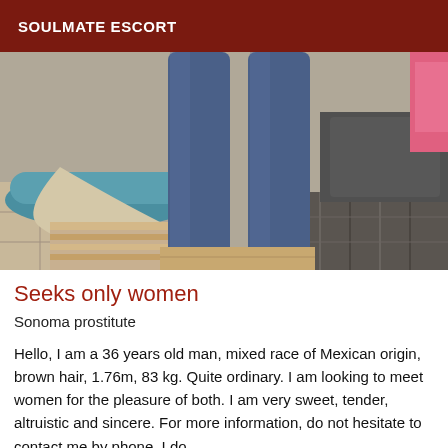SOULMATE ESCORT
[Figure (photo): Photo of a person standing in a room, visible from waist down wearing jeans, with a rug, couch, and tiled floor in background. Another person partially visible at right edge in pink top.]
Seeks only women
Sonoma prostitute
Hello, I am a 36 years old man, mixed race of Mexican origin, brown hair, 1.76m, 83 kg. Quite ordinary. I am looking to meet women for the pleasure of both. I am very sweet, tender, altruistic and sincere. For more information, do not hesitate to contact me by phone. I do